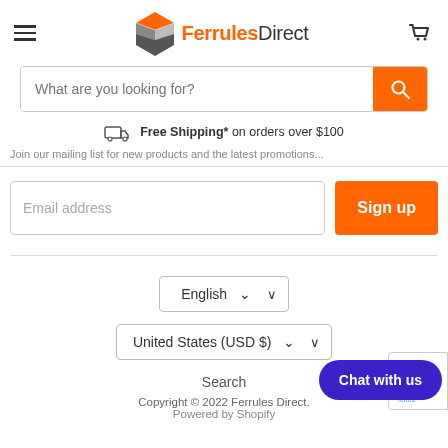FerrulesDict navigation header with hamburger menu, logo, and cart icon
What are you looking for?
Free Shipping* on orders over $100
Join our mailing list for new products and the latest promotions...
Email address
Sign up
English
United States (USD $)
Search
Copyright © 2022 Ferrules Direct.
Powered by Shopify